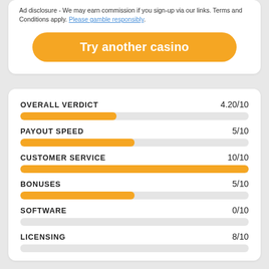Ad disclosure - We may earn commission if you sign-up via our links. Terms and Conditions apply. Please gamble responsibly.
Try another casino
[Figure (infographic): Overall verdict rating bars showing scores for: Overall Verdict 4.20/10, Payout Speed 5/10, Customer Service 10/10, Bonuses 5/10, Software 0/10, Licensing 8/10]
OVERALL VERDICT — 4.20/10
PAYOUT SPEED — 5/10
CUSTOMER SERVICE — 10/10
BONUSES — 5/10
SOFTWARE — 0/10
LICENSING — 8/10